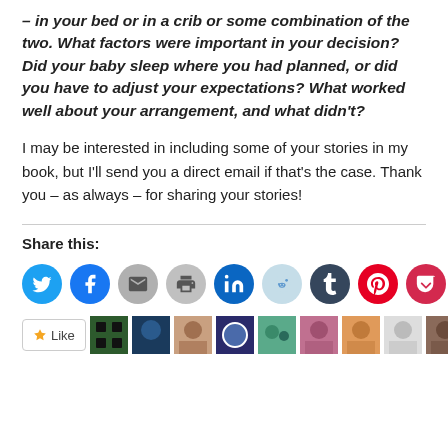– in your bed or in a crib or some combination of the two. What factors were important in your decision? Did your baby sleep where you had planned, or did you have to adjust your expectations? What worked well about your arrangement, and what didn't?
I may be interested in including some of your stories in my book, but I'll send you a direct email if that's the case. Thank you – as always – for sharing your stories!
Share this:
[Figure (infographic): Social share buttons: Twitter, Facebook, Email, Print, LinkedIn, Reddit, Tumblr, Pinterest, Pocket icons]
[Figure (infographic): Like button and row of user avatar thumbnails]